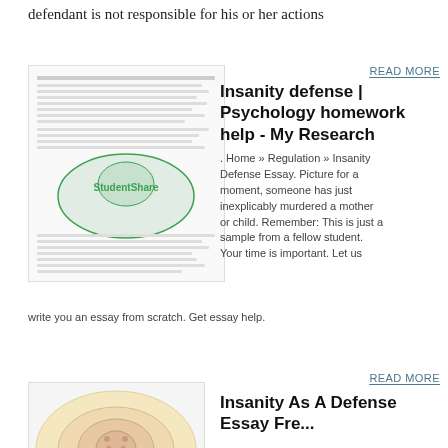defendant is not responsible for his or her actions
READ MORE
Insanity defense | Psychology homework help - My Research
[Figure (screenshot): StudentShare essay preview page showing text of an insanity defense essay with a StudentShare watermark logo overlay]
. Home » Regulation » Insanity Defense Essay. Picture for a moment, someone has just inexplicably murdered a mother or child. Remember: This is just a sample from a fellow student. Your time is important. Let us write you an essay from scratch. Get essay help.
READ MORE
Insanity As A Defense Essay Fre...